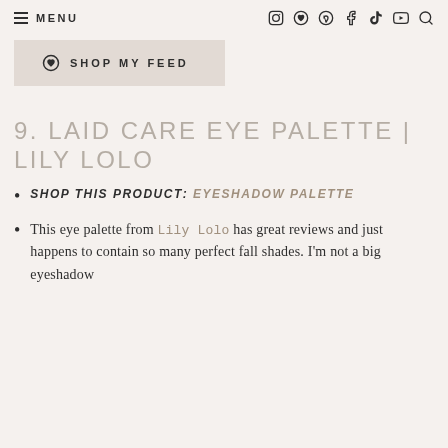≡ MENU  [social icons: Instagram, Reward, Pinterest, Facebook, TikTok, YouTube, Search]
[Figure (other): Shop My Feed button with circular icon, light beige background]
9. LAID CARE EYE PALETTE | LILY LOLO
SHOP THIS PRODUCT: EYESHADOW PALETTE
This eye palette from Lily Lolo has great reviews and just happens to contain so many perfect fall shades. I'm not a big eyeshadow